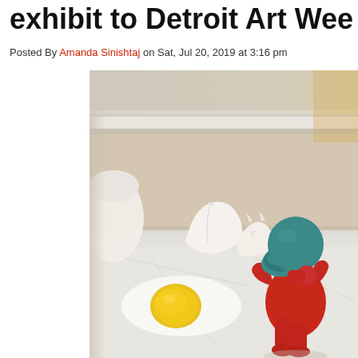exhibit to Detroit Art Week
Posted By Amanda Sinishtaj on Sat, Jul 20, 2019 at 3:16 pm
[Figure (photo): Small ceramic figurines on a marble windowsill: a red humanoid figure with a teal ball-shaped head holding a teal object, white cracked eggshell sculptures, and a fried egg ceramic piece with yellow yolk. Natural window light from behind.]